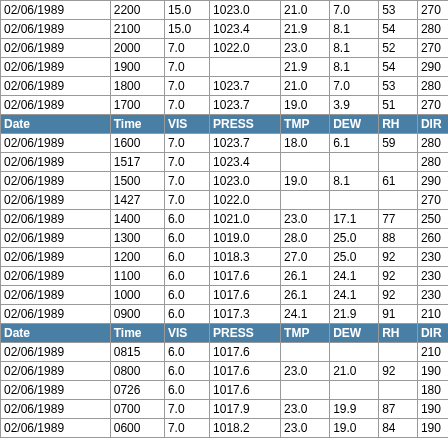| Date | Time | VIS | PRESS | TMP | DEW | RH | DIR | SPEED | GST | MX24 | M |
| --- | --- | --- | --- | --- | --- | --- | --- | --- | --- | --- | --- |
| 02/06/1989 | 2200 | 15.0 | 1023.0 | 21.0 | 7.0 | 53 | 270 | 10.4 |  |  |  |
| 02/06/1989 | 2100 | 15.0 | 1023.4 | 21.9 | 8.1 | 54 | 280 | 15.0 |  |  |  |
| 02/06/1989 | 2000 | 7.0 | 1022.0 | 23.0 | 8.1 | 52 | 270 | 16.1 |  |  |  |
| 02/06/1989 | 1900 | 7.0 |  | 21.9 | 8.1 | 54 | 290 | 9.2 |  |  |  |
| 02/06/1989 | 1800 | 7.0 | 1023.7 | 21.0 | 7.0 | 53 | 280 | 16.1 |  |  |  |
| 02/06/1989 | 1700 | 7.0 | 1023.7 | 19.0 | 3.9 | 51 | 270 | 19.6 |  |  |  |
| Date | Time | VIS | PRESS | TMP | DEW | RH | DIR | SPEED | GST | MX24 | M |
| 02/06/1989 | 1600 | 7.0 | 1023.7 | 18.0 | 6.1 | 59 | 280 | 20.7 |  |  |  |
| 02/06/1989 | 1517 | 7.0 | 1023.4 |  |  |  | 280 | 20.7 |  |  |  |
| 02/06/1989 | 1500 | 7.0 | 1023.0 | 19.0 | 8.1 | 61 | 290 | 18.4 |  |  |  |
| 02/06/1989 | 1427 | 7.0 | 1022.0 |  |  |  | 270 | 21.9 |  |  |  |
| 02/06/1989 | 1400 | 6.0 | 1021.0 | 23.0 | 17.1 | 77 | 250 | 25.3 | 34.5 |  |  |
| 02/06/1989 | 1300 | 6.0 | 1019.0 | 28.0 | 25.0 | 88 | 260 | 23.0 |  |  |  |
| 02/06/1989 | 1200 | 6.0 | 1018.3 | 27.0 | 25.0 | 92 | 230 | 11.5 |  |  |  |
| 02/06/1989 | 1100 | 6.0 | 1017.6 | 26.1 | 24.1 | 92 | 230 | 11.5 |  |  |  |
| 02/06/1989 | 1000 | 6.0 | 1017.6 | 26.1 | 24.1 | 92 | 230 | 9.2 |  |  |  |
| 02/06/1989 | 0900 | 6.0 | 1017.3 | 24.1 | 21.9 | 91 | 210 | 11.5 |  |  |  |
| Date | Time | VIS | PRESS | TMP | DEW | RH | DIR | SPEED | GST | MX24 | M |
| 02/06/1989 | 0815 | 6.0 | 1017.6 |  |  |  | 210 | 10.4 |  |  |  |
| 02/06/1989 | 0800 | 6.0 | 1017.6 | 23.0 | 21.0 | 92 | 190 | 6.9 |  |  |  |
| 02/06/1989 | 0726 | 6.0 | 1017.6 |  |  |  | 180 | 6.9 |  |  |  |
| 02/06/1989 | 0700 | 7.0 | 1017.9 | 23.0 | 19.9 | 87 | 190 | 8.1 |  |  |  |
| 02/06/1989 | 0600 | 7.0 | 1018.2 | 23.0 | 19.0 | 84 | 190 | 5.8 |  |  |  |